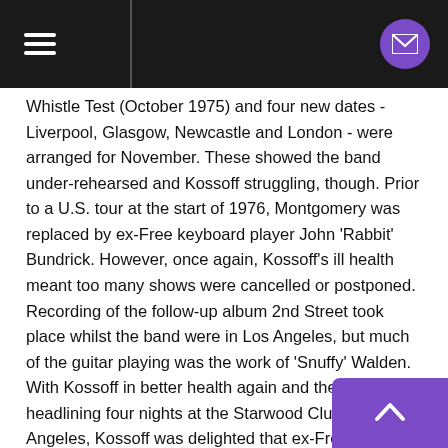[Navigation header with hamburger menu and mail button]
Whistle Test (October 1975) and four new dates - Liverpool, Glasgow, Newcastle and London - were arranged for November. These showed the band under-rehearsed and Kossoff struggling, though. Prior to a U.S. tour at the start of 1976, Montgomery was replaced by ex-Free keyboard player John 'Rabbit' Bundrick. However, once again, Kossoff's ill health meant too many shows were cancelled or postponed. Recording of the follow-up album 2nd Street took place whilst the band were in Los Angeles, but much of the guitar playing was the work of 'Snuffy' Walden. With Kossoff in better health again and the band headlining four nights at the Starwood Club, Los Angeles, Kossoff was delighted that ex-Free colleagues, Paul Rodgers and Simon Kirke (headlining with Bad Company at the Forum), joined him on stage for two nights. A British tour was set to begin on 25 April 1976, coinciding with the launch of the second album, but Kossoff died of a heart attack on an overnight flight from Los Angeles to New York on 19 March 1976. Recordings from one of the UK concerts in 1975 were later released under the title Live at Croydon Fairfield Halls 15/6/75.Back Street Crawler continued, under the name Crawler, with Geoff Whitehoon guitar, but they were dropped by Atlantic after failing to replace Kossoff with a big name. They were instead signed to the Epic label.